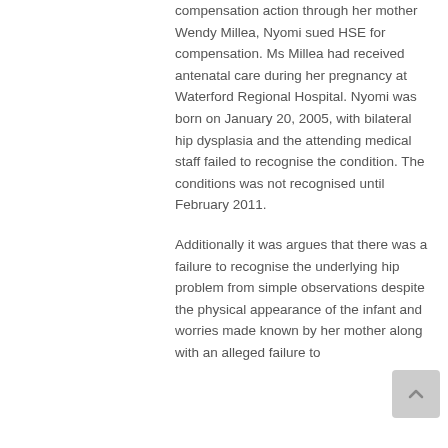compensation action through her mother Wendy Millea, Nyomi sued HSE for compensation. Ms Millea had received antenatal care during her pregnancy at Waterford Regional Hospital. Nyomi was born on January 20, 2005, with bilateral hip dysplasia and the attending medical staff failed to recognise the condition. The conditions was not recognised until February 2011.
Additionally it was argues that there was a failure to recognise the underlying hip problem from simple observations despite the physical appearance of the infant and worries made known by her mother along with an alleged failure to